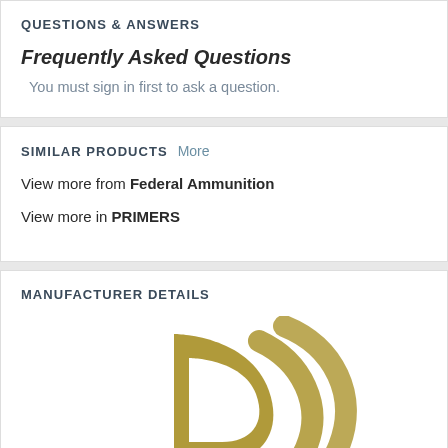QUESTIONS & ANSWERS
Frequently Asked Questions
You must sign in first to ask a question.
SIMILAR PRODUCTS  More
View more from Federal Ammunition
View more in PRIMERS
MANUFACTURER DETAILS
[Figure (logo): Federal Ammunition logo — golden/olive arc swoosh design]